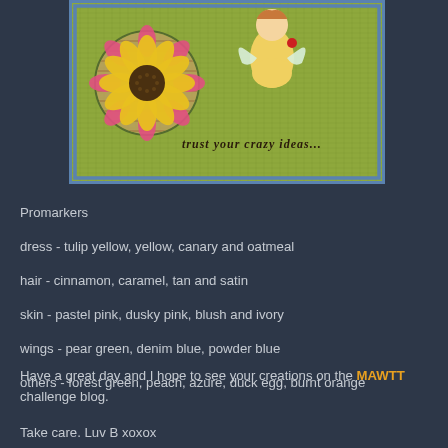[Figure (photo): A handmade craft card with a yellow-green burlap textured background, a circular element with a large yellow sunflower and pink petals on the left, a yellow fairy/angel figure on the right, a blue border, and stamped text reading 'trust your crazy ideas...']
Promarkers
dress - tulip yellow, yellow, canary and oatmeal
hair - cinnamon, caramel, tan and satin
skin - pastel pink, dusky pink, blush and ivory
wings - pear green, denim blue, powder blue
others - forest green, peach, azure, duck egg, burnt orange
Have a great day and I hope to see your creations on the MAWTT challenge blog.
Take care. Luv B xoxox
Challenges I would like to enter